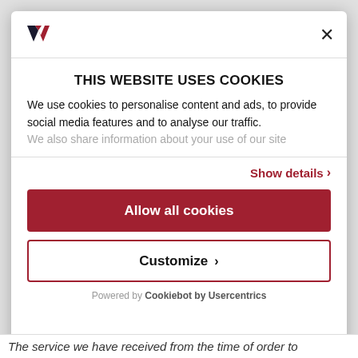[Figure (logo): Red and black stylized W logo in top left of modal header]
THIS WEBSITE USES COOKIES
We use cookies to personalise content and ads, to provide social media features and to analyse our traffic. We also share information about your use of our site
Show details ›
Allow all cookies
Customize ›
Powered by Cookiebot by Usercentrics
The service we have received from the time of order to